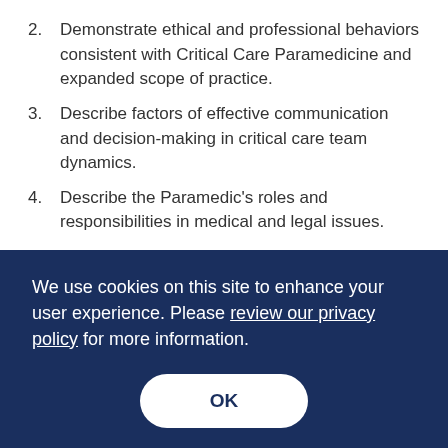2. Demonstrate ethical and professional behaviors consistent with Critical Care Paramedicine and expanded scope of practice.
3. Describe factors of effective communication and decision-making in critical care team dynamics.
4. Describe the Paramedic's roles and responsibilities in medical and legal issues.
5. Demonstrate patient advocacy.
6. Apply strategies of safety and survival in Critical
We use cookies on this site to enhance your user experience. Please review our privacy policy for more information.
OK